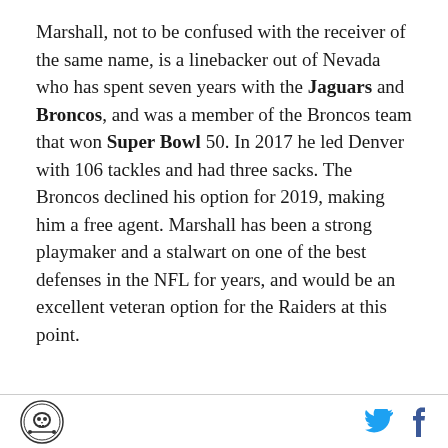Marshall, not to be confused with the receiver of the same name, is a linebacker out of Nevada who has spent seven years with the Jaguars and Broncos, and was a member of the Broncos team that won Super Bowl 50. In 2017 he led Denver with 106 tackles and had three sacks. The Broncos declined his option for 2019, making him a free agent. Marshall has been a strong playmaker and a stalwart on one of the best defenses in the NFL for years, and would be an excellent veteran option for the Raiders at this point.
site logo | twitter | facebook